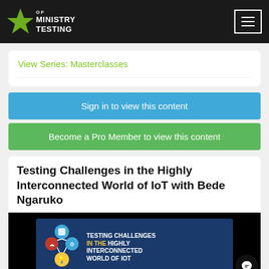Ministry of Testing
View Series: Masterclasses
Sign in to view this content
Become a Pro Member to view this content
Testing Challenges in the Highly Interconnected World of IoT with Bede Ngaruko
[Figure (screenshot): Video thumbnail showing 'Testing Challenges in the Highly Interconnected World of IoT' with IoT network icons on dark blue background with yellow and white text]